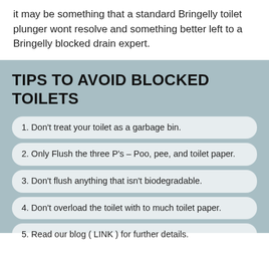it may be something that a standard Bringelly toilet plunger wont resolve and something better left to a Bringelly blocked drain expert.
TIPS TO AVOID BLOCKED TOILETS
1. Don't treat your toilet as a garbage bin.
2. Only Flush the three P's – Poo, pee, and toilet paper.
3. Don't flush anything that isn't biodegradable.
4. Don't overload the toilet with to much toilet paper.
5. Read our blog ( LINK ) for further details.